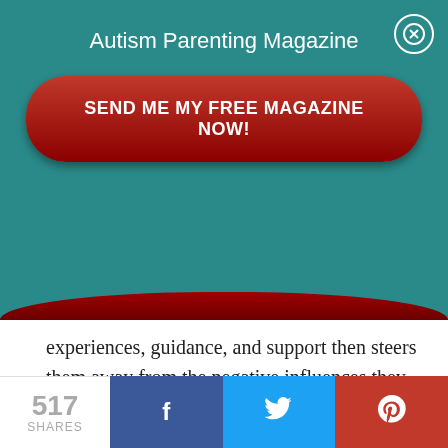Autism Parenting Magazine
[Figure (other): Red rounded CTA button with text SEND ME MY FREE MAGAZINE NOW!]
experiences, guidance, and support then steers them away from the negative influences they may be receiving with their own “research” into the world of pornography and give them information they are actually seeking.
Spectrum Teens find it difficult to ask for information whether it be about relationships or
517 SHARES  f  t  (Pinterest icon)